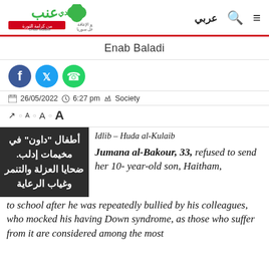[Figure (logo): Enab Baladi news website logo with Arabic text and green clover icon]
عربي
Enab Baladi
[Figure (illustration): Social media icons: Facebook (blue), Twitter (blue), WhatsApp (green)]
26/05/2022   6:27 pm   Society
○A ○A ○A
أطفال "داون" في مخيمات إدلب. ضحايا العزلة والتنمر وغياب الرعاية
Idlib – Huda al-Kulaib
Jumana al-Bakour, 33, refused to send her 10-year-old son, Haitham, to school after he was repeatedly bullied by his colleagues, who mocked his having Down syndrome, as those who suffer from it are considered among the most